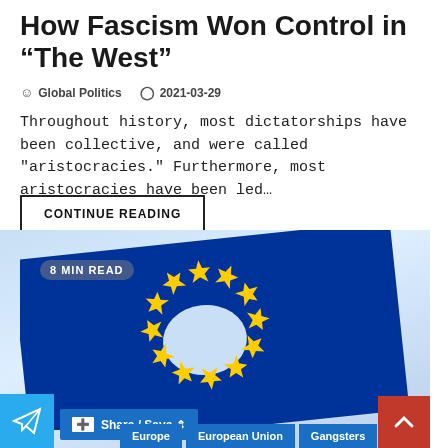How Fascism Won Control in “The West”
• Global Politics   ○ 2021-03-29
Throughout history, most dictatorships have been collective, and were called "aristocracies." Furthermore, most aristocracies have been led…
CONTINUE READING
[Figure (photo): European Union flag waving against a blue sky, with a hole torn through the center. Badge overlay reads '8 MIN READ'. Bottom overlays include a Telegram share button, a Share/Save button, a back-to-top red button, and tag pills labeled Europe, European Union, Gangsters.]